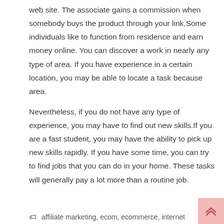web site. The associate gains a commission when somebody buys the product through your link.Some individuals like to function from residence and earn money online. You can discover a work in nearly any type of area. If you have experience in a certain location, you may be able to locate a task because area.
Nevertheless, if you do not have any type of experience, you may have to find out new skills.If you are a fast student, you may have the ability to pick up new skills rapidly. If you have some time, you can try to find jobs that you can do in your home. These tasks will generally pay a lot more than a routine job.
affiliate marketing, ecom, ecommerce, internet